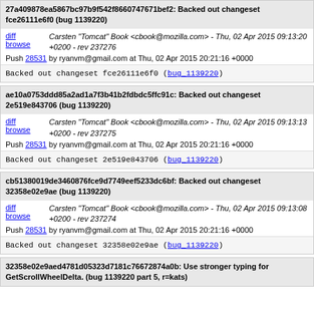27a409878ea5867bc97b9f542f8660747671bef2: Backed out changeset fce26111e6f0 (bug 1139220)
diff browse | Carsten "Tomcat" Book <cbook@mozilla.com> - Thu, 02 Apr 2015 09:13:20 +0200 - rev 237276
Push 28531 by ryanvm@gmail.com at Thu, 02 Apr 2015 20:21:16 +0000
Backed out changeset fce26111e6f0 (bug_1139220)
ae10a0753ddd85a2ad1a7f3b41b2fdbdc5ffc91c: Backed out changeset 2e519e843706 (bug 1139220)
diff browse | Carsten "Tomcat" Book <cbook@mozilla.com> - Thu, 02 Apr 2015 09:13:13 +0200 - rev 237275
Push 28531 by ryanvm@gmail.com at Thu, 02 Apr 2015 20:21:16 +0000
Backed out changeset 2e519e843706 (bug_1139220)
cb51380019de3460876fce9d7749eef5233dc6bf: Backed out changeset 32358e02e9ae (bug 1139220)
diff browse | Carsten "Tomcat" Book <cbook@mozilla.com> - Thu, 02 Apr 2015 09:13:08 +0200 - rev 237274
Push 28531 by ryanvm@gmail.com at Thu, 02 Apr 2015 20:21:16 +0000
Backed out changeset 32358e02e9ae (bug_1139220)
32358e02e9aed4781d05323d7181c76672874a0b: Use stronger typing for GetScrollWheelDelta. (bug 1139220 part 5, r=kats)